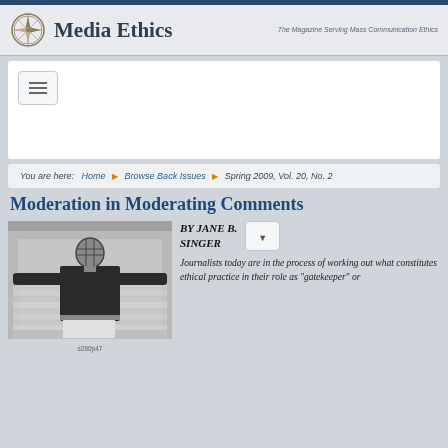Media Ethics — The Magazine Serving Mass Communication Ethics
You are here: Home ▶ Browse Back Issues ▶ Spring 2009, Vol. 20, No. 2
Moderation in Moderating Comments
[Figure (photo): Black and white photo of a person standing with arms spread wide in front of stacked newspapers, wearing a dark shirt and light pants with a face mask/cage.]
BY JANE B. SINGER
Journalists today are in the process of working out what constitutes ethical practice in their role as "gatekeeper" or